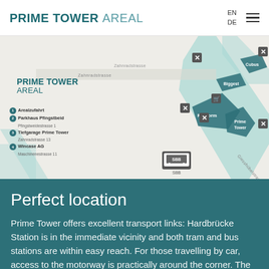PRIME TOWER AREAL
[Figure (map): Site map of Prime Tower Areal showing buildings (Platform, Biggest, Prime Tower, Cubus), parking facilities, SBB train station marker, and street labels (Zollikerstrasse, Giesshübelstrasse). Legend shows: 1 Arealzufahrt, 2 Parkhaus Pfingstbeid / Pfingstweidestrasse 1, 3 Tiefgarage Prime Tower / Zahnradstrasse 13, 4 Wincase AG / Maschinenestrasse 11]
Perfect location
Prime Tower offers excellent transport links: Hardbrücke Station is in the immediate vicinity and both tram and bus stations are within easy reach. For those travelling by car, access to the motorway is practically around the corner. The two storey